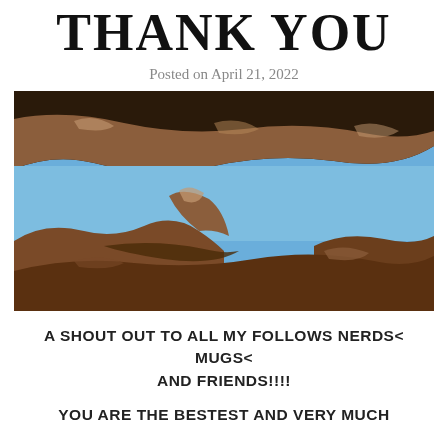THANK YOU
Posted on April 21, 2022
[Figure (photo): Upward view through a rock formation or cave opening showing red-brown sandstone rocks with blue sky visible between them]
A SHOUT OUT TO ALL MY FOLLOWS NERDS< MUGS< AND FRIENDS!!!!
YOU ARE THE BESTEST AND VERY MUCH